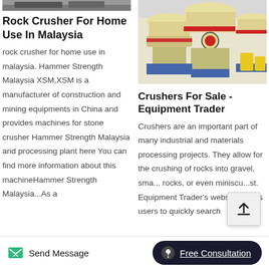[Figure (photo): Partial top image strip – rock crusher machinery, cut off at top]
Rock Crusher For Home Use In Malaysia
rock crusher for home use in malaysia. Hammer Strength Malaysia XSM,XSM is a manufacturer of construction and mining equipments in China and provides machines for stone crusher Hammer Strength Malaysia and processing plant here You can find more information about this machineHammer Strength Malaysia...As a
[Figure (photo): Photo of industrial cone crushers (yellow/cream colored) in a factory yard]
Crushers For Sale - Equipment Trader
Crushers are an important part of many industrial and materials processing projects. They allow for the crushing of rocks into gravel, sma... rocks, or even miniscu...st. Equipment Trader's website allows users to quickly search
Send Message   Free Consultation